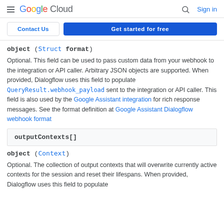≡ Google Cloud  🔍 Sign in
Contact Us | Get started for free
object (Struct format)
Optional. This field can be used to pass custom data from your webhook to the integration or API caller. Arbitrary JSON objects are supported. When provided, Dialogflow uses this field to populate QueryResult.webhook_payload sent to the integration or API caller. This field is also used by the Google Assistant integration for rich response messages. See the format definition at Google Assistant Dialogflow webhook format
outputContexts[]
object (Context)
Optional. The collection of output contexts that will overwrite currently active contexts for the session and reset their lifespans. When provided, Dialogflow uses this field to populate